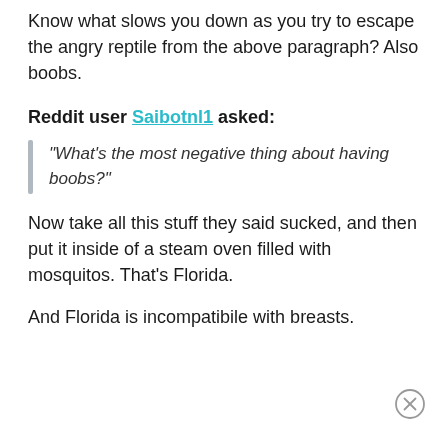Know what slows you down as you try to escape the angry reptile from the above paragraph? Also boobs.
Reddit user Saibotnl1 asked:
"What's the most negative thing about having boobs?"
Now take all this stuff they said sucked, and then put it inside of a steam oven filled with mosquitos. That's Florida.
And Florida is incompatibile with breasts.